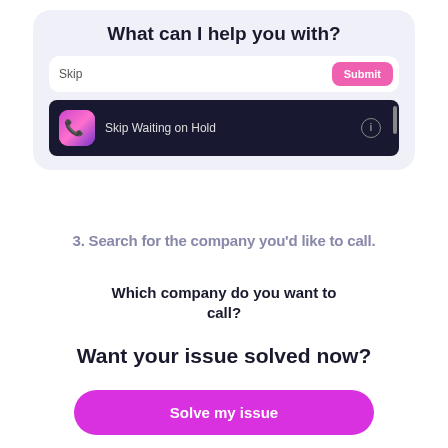[Figure (screenshot): UI card with title 'What can I help you with?', a search input field with 'Skip' text and a pink 'Submit' button, and a dark dropdown showing 'Skip Waiting on Hold' with an app icon and info icon]
3. Search for the company you'd like to call.
Which company do you want to call?
Want your issue solved now?
Solve my issue